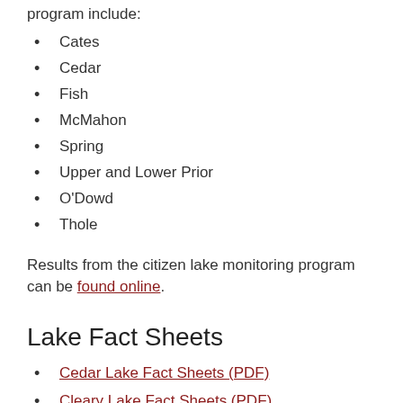program include:
Cates
Cedar
Fish
McMahon
Spring
Upper and Lower Prior
O'Dowd
Thole
Results from the citizen lake monitoring program can be found online.
Lake Fact Sheets
Cedar Lake Fact Sheets (PDF)
Cleary Lake Fact Sheets (PDF)
Cynthia Lake Fact Sheets (PDF)